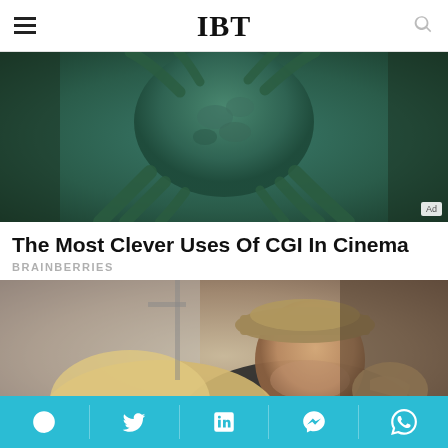IBT
[Figure (photo): CGI creature (octopus-like sea monster) from a cinema film, with green tentacles and dark tones. Ad badge visible in bottom-right corner.]
The Most Clever Uses Of CGI In Cinema
BRAINBERRIES
[Figure (photo): A young man wearing a tan baseball cap leaning on a blonde woman, smiling at camera, in a candid celebrity-style photo.]
Social share bar with Facebook, Twitter, LinkedIn, Messenger, WhatsApp icons